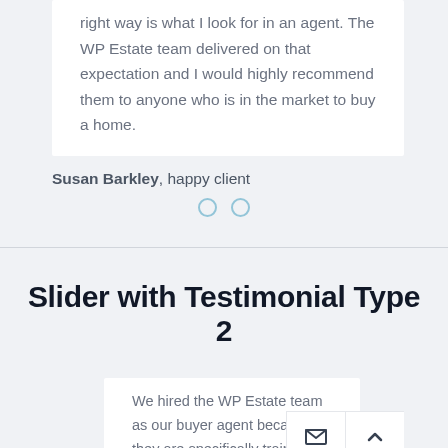right way is what I look for in an agent. The WP Estate team delivered on that expectation and I would highly recommend them to anyone who is in the market to buy a home.
Susan Barkley, happy client
[Figure (infographic): Two circular pagination dots for a testimonial slider]
Slider with Testimonial Type 2
We hired the WP Estate team as our buyer agent because they are specifically trained in